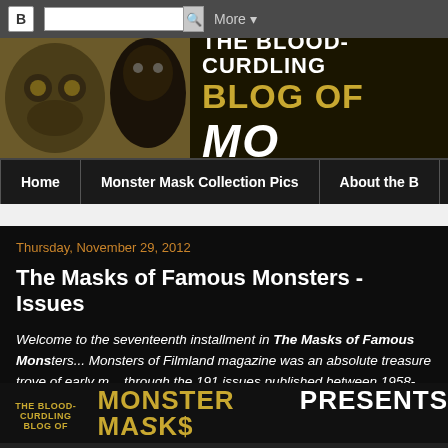Blogger toolbar with search and More button
[Figure (illustration): The Blood-Curdling Blog of Monsters banner with monster photos on left and gold/white title text on dark background]
Home | Monster Mask Collection Pics | About the B...
Thursday, November 29, 2012
The Masks of Famous Monsters - Issues...
Welcome to the seventeenth installment in The Masks of Famous Mons... Monsters of Filmland magazine was an absolute treasure trove of early m... through the 191 issues published between 1958-1983, it's possible to ga... of the decades of evolution and history of Don Post Studios and Topston... eventual goal of this series is to catalog and archive each monster mask... Famous Monsters.
[Figure (logo): The Blood-Curdling Blog of Monster Masks Presents logo in gold on dark background]